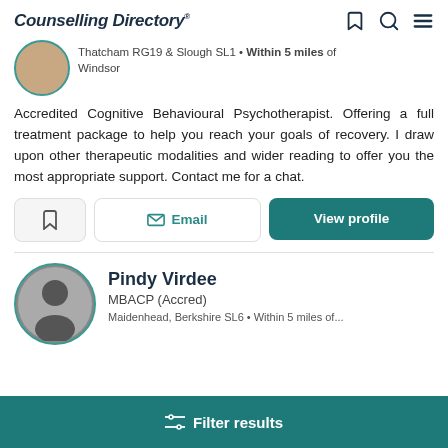Counselling Directory
Thatcham RG19 & Slough SL1 • Within 5 miles of Windsor
Accredited Cognitive Behavioural Psychotherapist. Offering a full treatment package to help you reach your goals of recovery. I draw upon other therapeutic modalities and wider reading to offer you the most appropriate support. Contact me for a chat.
Email
View profile
Pindy Virdee
MBACP (Accred)
Filter results